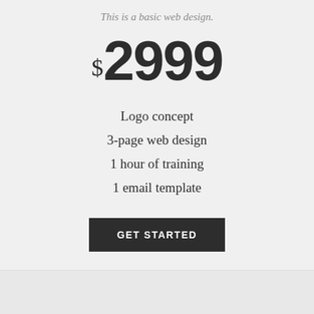This is a basic web design.
$2999
Logo concept
3-page web design
1 hour of training
1 email template
Get Started